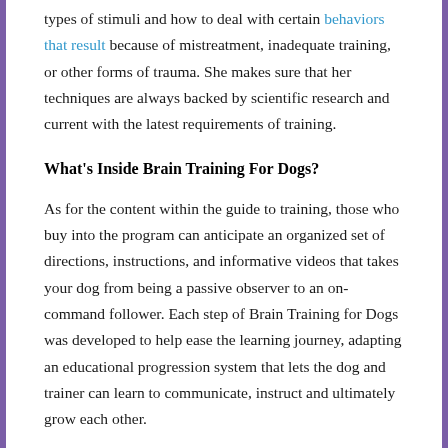types of stimuli and how to deal with certain behaviors that result because of mistreatment, inadequate training, or other forms of trauma. She makes sure that her techniques are always backed by scientific research and current with the latest requirements of training.
What's Inside Brain Training For Dogs?
As for the content within the guide to training, those who buy into the program can anticipate an organized set of directions, instructions, and informative videos that takes your dog from being a passive observer to an on-command follower. Each step of Brain Training for Dogs was developed to help ease the learning journey, adapting an educational progression system that lets the dog and trainer can learn to communicate, instruct and ultimately grow each other.